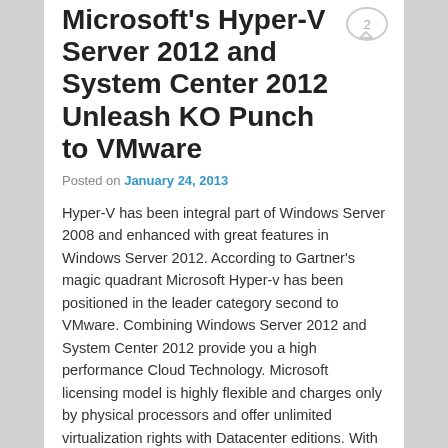Microsoft's Hyper-V Server 2012 and System Center 2012 Unleash KO Punch to VMware
Posted on January 24, 2013
Hyper-V has been integral part of Windows Server 2008 and enhanced with great features in Windows Server 2012. According to Gartner's magic quadrant Microsoft Hyper-v has been positioned in the leader category second to VMware. Combining Windows Server 2012 and System Center 2012 provide you a high performance Cloud Technology. Microsoft licensing model is highly flexible and charges only by physical processors and offer unlimited virtualization rights with Datacenter editions. With Hyper-v, your return on investment (ROI) increases as your workload density increases.
Pricing Comparison: